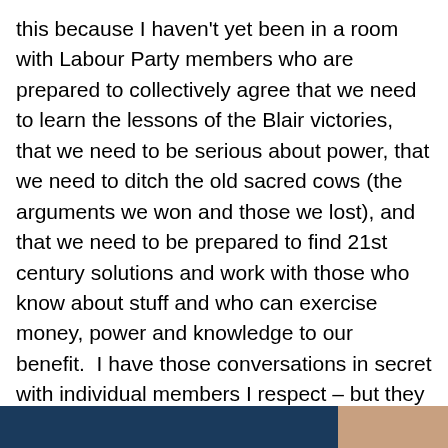this because I haven't yet been in a room with Labour Party members who are prepared to collectively agree that we need to learn the lessons of the Blair victories, that we need to be serious about power, that we need to ditch the old sacred cows (the arguments we won and those we lost), and that we need to be prepared to find 21st century solutions and work with those who know about stuff and who can exercise money, power and knowledge to our benefit.  I have those conversations in secret with individual members I respect – but they aren't the conversations any of us are having yet in larger groups
Privacy & Cookies: This site uses cookies. By continuing to use this website, you agree to their use.
To find out more, including how to control cookies, see here: Cookie Policy